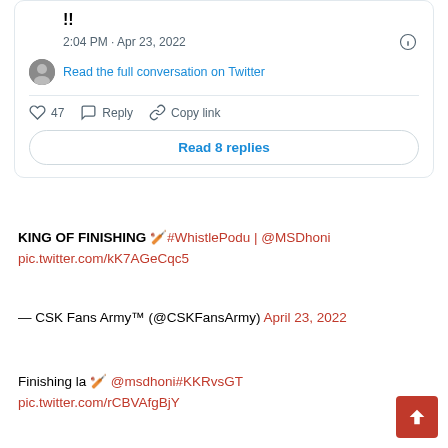[Figure (screenshot): Twitter/X embed card showing a tweet with '!!' text, timestamp 2:04 PM · Apr 23, 2022, avatar, 'Read the full conversation on Twitter' link, 47 likes, Reply, Copy link actions, and 'Read 8 replies' button]
KING OF FINISHING 🏏#WhistlePodu | @MSDhoni pic.twitter.com/kK7AGeCqc5
— CSK Fans Army™ (@CSKFansArmy) April 23, 2022
Finishing la 🏏 @msdhoni#KKRvsGT pic.twitter.com/rCBVAfgBjY